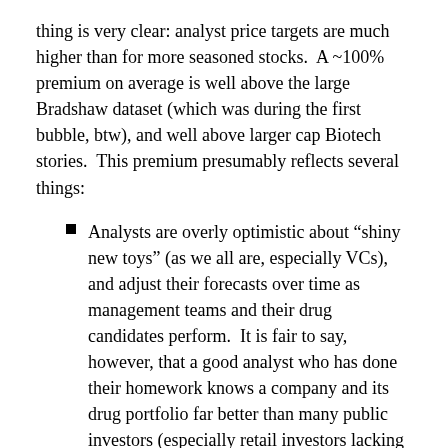thing is very clear: analyst price targets are much higher than for more seasoned stocks.  A ~100% premium on average is well above the large Bradshaw dataset (which was during the first bubble, btw), and well above larger cap Biotech stories.  This premium presumably reflects several things:
Analysts are overly optimistic about “shiny new toys” (as we all are, especially VCs), and adjust their forecasts over time as management teams and their drug candidates perform.  It is fair to say, however, that a good analyst who has done their homework knows a company and its drug portfolio far better than many public investors (especially retail investors lacking institutional support).
Given the short trading histories, the overall market has had less time to find an equilibrium